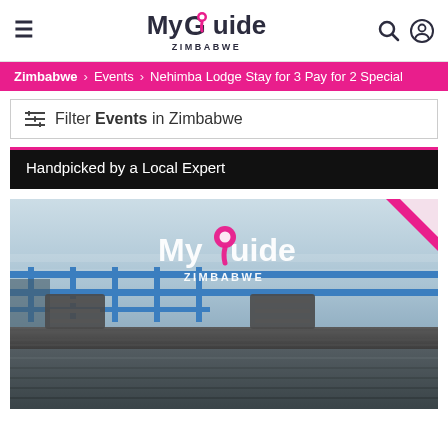My Guide Zimbabwe
Zimbabwe > Events > Nehimba Lodge Stay for 3 Pay for 2 Special
Filter Events in Zimbabwe
Handpicked by a Local Expert
[Figure (photo): Outdoor deck or terrace with wooden furniture (table and chairs) and blue metal railings, overlooking water. My Guide Zimbabwe watermark logo centered on image. Pink triangle in top-right corner.]